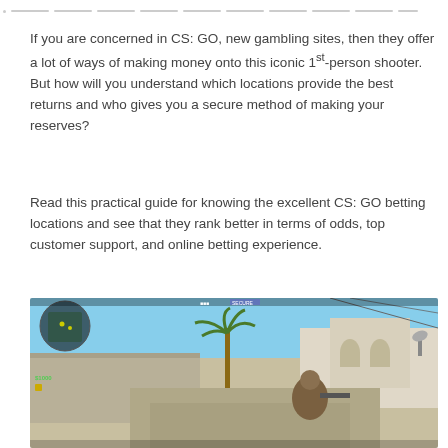navigation bar placeholder
If you are concerned in CS: GO, new gambling sites, then they offer a lot of ways of making money onto this iconic 1st-person shooter. But how will you understand which locations provide the best returns and who gives you a secure method of making your reserves?
Read this practical guide for knowing the excellent CS: GO betting locations and see that they rank better in terms of odds, top customer support, and online betting experience.
[Figure (screenshot): CS:GO gameplay screenshot showing a desert-themed map with buildings, palm tree, minimap in top-left corner, and player character visible in the scene. HUD showing $1000 and weapon inventory at the bottom left.]